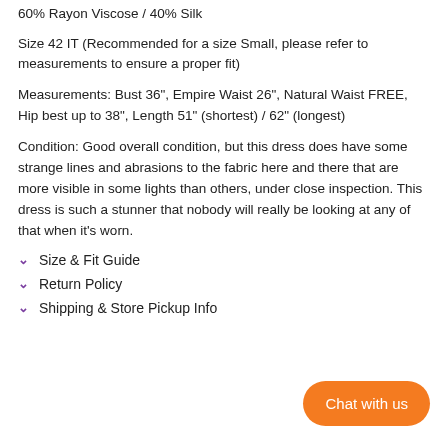60% Rayon Viscose / 40% Silk
Size 42 IT (Recommended for a size Small, please refer to measurements to ensure a proper fit)
Measurements: Bust 36", Empire Waist 26", Natural Waist FREE, Hip best up to 38", Length 51" (shortest) / 62" (longest)
Condition: Good overall condition, but this dress does have some strange lines and abrasions to the fabric here and there that are more visible in some lights than others, under close inspection. This dress is such a stunner that nobody will really be looking at any of that when it's worn.
Size & Fit Guide
Return Policy
Shipping & Store Pickup Info